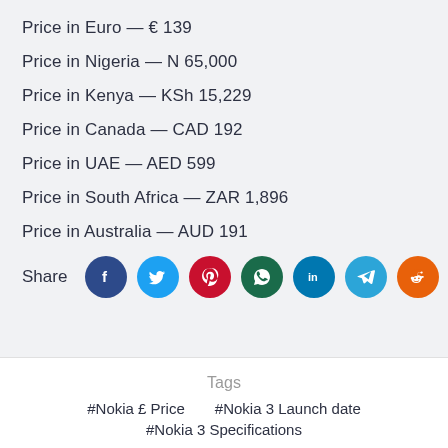Price in Euro  —  € 139
Price in Nigeria  —  N 65,000
Price in Kenya  —  KSh 15,229
Price in Canada  —  CAD 192
Price in UAE  —  AED 599
Price in South Africa  —  ZAR 1,896
Price in Australia  —  AUD 191
Share [social icons: Facebook, Twitter, Pinterest, WhatsApp, LinkedIn, Telegram, Reddit]
Tags
#Nokia £ Price    #Nokia 3 Launch date    #Nokia 3 Specifications